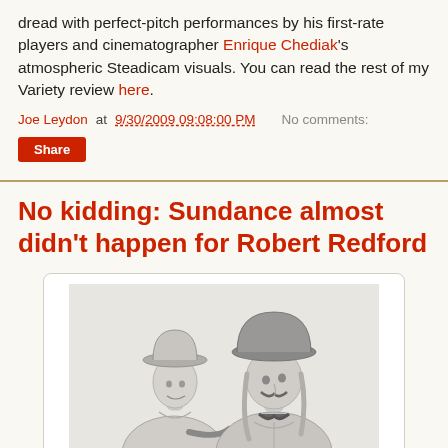dread with perfect-pitch performances by his first-rate players and cinematographer Enrique Chediak's atmospheric Steadicam visuals. You can read the rest of my Variety review here.
Joe Leydon at 9/30/2009 09:08:00 PM    No comments:
Share
No kidding: Sundance almost didn't happen for Robert Redford
[Figure (illustration): Pencil/charcoal illustration of two figures wearing cowboy hats, drawn in a caricature style. One figure leans on the other.]